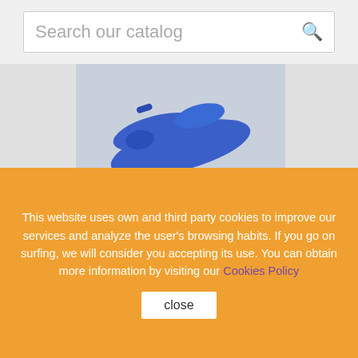Search our catalog
[Figure (photo): Blue electric ear tag/clip product photo on light blue-gray background]
Electric blue
€2.07
(Lot of 10 units)
[Figure (photo): Blue ear tag fastener/applicator components photo on gray background]
This website uses own and third party cookies to improve our services and analyze the user's browsing habits. If you go on surfing, we will consider you accepting its use. You can obtain more information by visiting our Cookies Policy